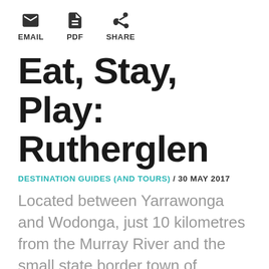EMAIL  PDF  SHARE
Eat, Stay, Play: Rutherglen
DESTINATION GUIDES (AND TOURS) / 30 MAY 2017
Located between Yarrawonga and Wodonga, just 10 kilometres from the Murray River and the small state border town of Wahgunyah, Rutherglen combines historical charm with a burgeoning food and wine scene. With its roots in agriculture, the district was one of Victoria's first to establish itself